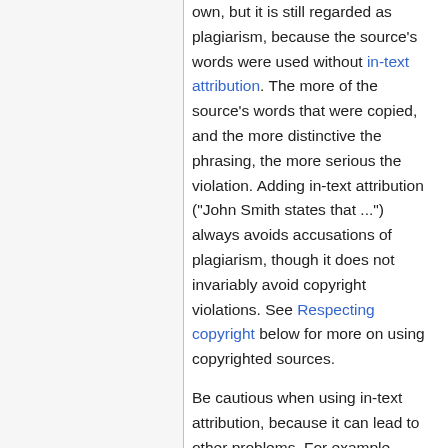own, but it is still regarded as plagiarism, because the source's words were used without in-text attribution. The more of the source's words that were copied, and the more distinctive the phrasing, the more serious the violation. Adding in-text attribution ("John Smith states that ...") always avoids accusations of plagiarism, though it does not invariably avoid copyright violations. See Respecting copyright below for more on using copyrighted sources.
Be cautious when using in-text attribution, because it can lead to other problems. For example, "According to